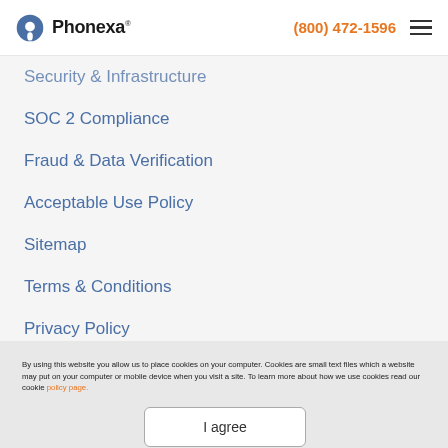Phonexa (800) 472-1596
Security & Infrastructure
SOC 2 Compliance
Fraud & Data Verification
Acceptable Use Policy
Sitemap
Terms & Conditions
Privacy Policy
By using this website you allow us to place cookies on your computer. Cookies are small text files which a website may put on your computer or mobile device when you visit a site. To learn more about how we use cookies read our cookie policy page.
I agree